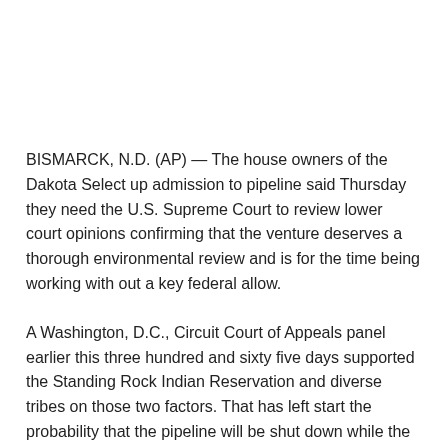BISMARCK, N.D. (AP) — The house owners of the Dakota Select up admission to pipeline said Thursday they need the U.S. Supreme Court to review lower court opinions confirming that the venture deserves a thorough environmental review and is for the time being working with out a key federal allow.
A Washington, D.C., Circuit Court of Appeals panel earlier this three hundred and sixty five days supported the Standing Rock Indian Reservation and diverse tribes on those two factors. That has left start the probability that the pipeline will be shut down while the U.S. Navy Corps of Engineers conducts the environmental judge.